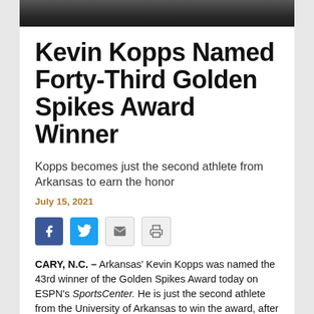[Figure (photo): Dark photo strip at the top of the page, showing a blurred outdoor/sports scene]
Kevin Kopps Named Forty-Third Golden Spikes Award Winner
Kopps becomes just the second athlete from Arkansas to earn the honor
July 15, 2021
[Figure (infographic): Social media sharing icons: Facebook (blue), Twitter (blue), Email (grey envelope), Print (grey printer)]
CARY, N.C. – Arkansas' Kevin Kopps was named the 43rd winner of the Golden Spikes Award today on ESPN's SportsCenter. He is just the second athlete from the University of Arkansas to win the award, after Andrew Benintendi earned the honor in 2016. The Golden Spikes